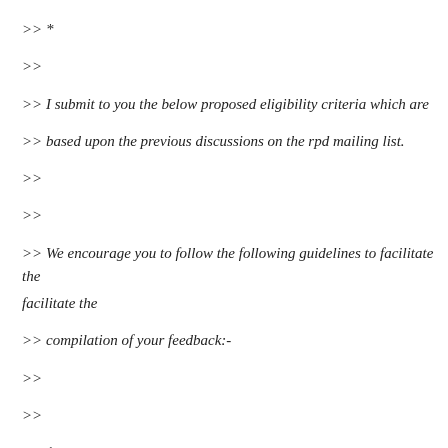>> *
>>
>> I submit to you the below proposed eligibility criteria which are
>> based upon the previous discussions on the rpd mailing list.
>>
>>
>> We encourage you to follow the following guidelines to facilitate the
>> compilation of your feedback:-
>>
>>
>> 1.
>>